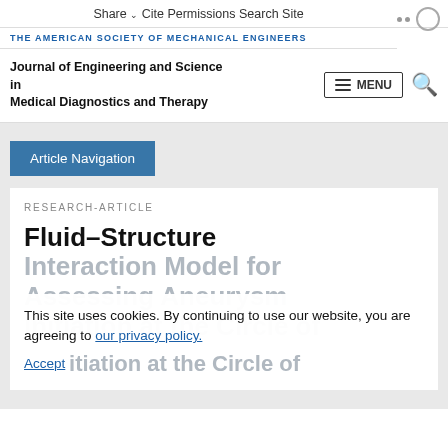Share  Cite  Permissions  Search Site
THE AMERICAN SOCIETY OF MECHANICAL ENGINEERS
Journal of Engineering and Science in Medical Diagnostics and Therapy  ≡ MENU
Article Navigation
RESEARCH-ARTICLE
Fluid–Structure Interaction Model for Assessing Aneurysm Initiation at the Circle of Willis
This site uses cookies. By continuing to use our website, you are agreeing to our privacy policy. Accept